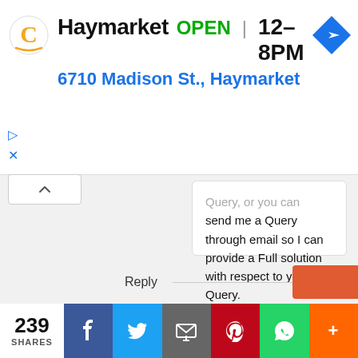[Figure (screenshot): Google Maps ad banner showing Haymarket store: logo, OPEN status, hours 12-8PM, address 6710 Madison St., Haymarket, and a navigation arrow icon]
Query, or you can send me a Query through email so I can provide a Full solution with respect to your Query.

Thanks For comment Keep visit keep share and Keep Healthy
Reply
239
SHARES